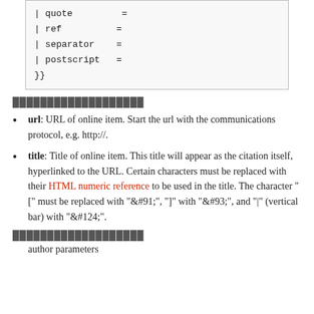| quote =
| ref =
| separator =
| postscript =
}}
███████████████████
url: URL of online item. Start the url with the communications protocol, e.g. http://.
title: Title of online item. This title will appear as the citation itself, hyperlinked to the URL. Certain characters must be replaced with their HTML numeric reference to be used in the title. The character "[" must be replaced with "&#91;", "]" with "&#93;", and "|" (vertical bar) with "&#124;".
███████████████████
author parameters